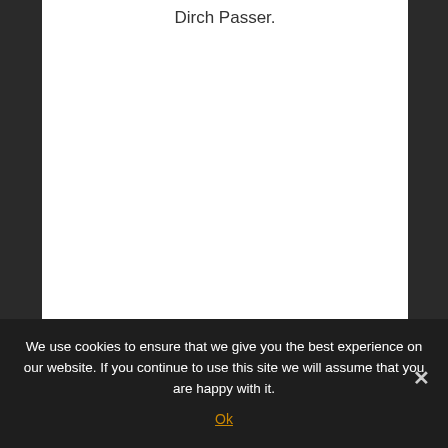Dirch Passer.
We use cookies to ensure that we give you the best experience on our website. If you continue to use this site we will assume that you are happy with it.
Ok